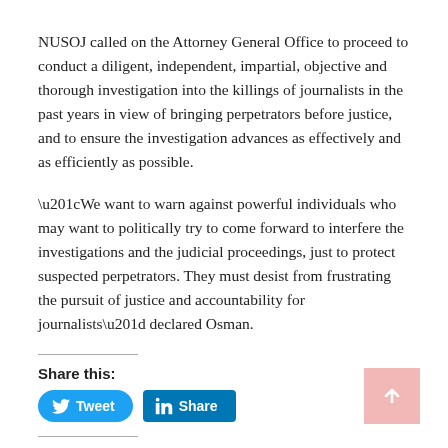NUSOJ called on the Attorney General Office to proceed to conduct a diligent, independent, impartial, objective and thorough investigation into the killings of journalists in the past years in view of bringing perpetrators before justice, and to ensure the investigation advances as effectively and as efficiently as possible.
“We want to warn against powerful individuals who may want to politically try to come forward to interfere the investigations and the judicial proceedings, just to protect suspected perpetrators. They must desist from frustrating the pursuit of justice and accountability for journalists” declared Osman.
Share this:
[Figure (other): Tweet button (Twitter/X) and Share button (LinkedIn) social sharing buttons]
Like this:
Loading...